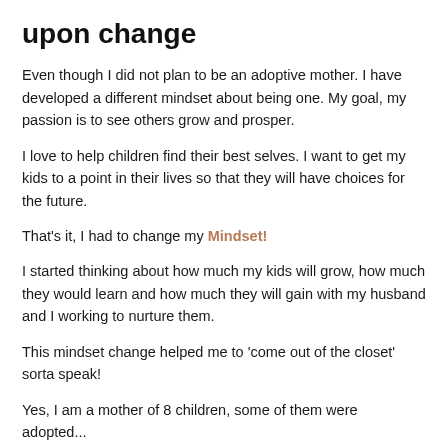upon change
Even though I did not plan to be an adoptive mother.  I have developed a different mindset about being one. My goal, my passion is to see others grow and prosper.
I love to help children find their best selves. I want to get my kids to a point in their lives so that they will have choices for the future.
That's it, I had to change my Mindset!
I started thinking about how much my kids will grow, how much they would learn and how much they will gain with my husband and I working to nurture them.
This mindset change helped me to 'come out of the closet' sorta speak!
Yes, I am a mother of 8 children, some of them were adopted...